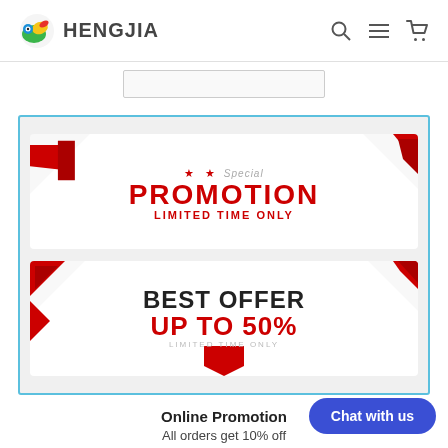HENGJIA — navigation header with search, menu, and cart icons
[Figure (illustration): Promotional banner with two cards: 1) Special PROMOTION LIMITED TIME ONLY with red ribbon decorations and stars. 2) BEST OFFER UP TO 50% LIMITED TIME ONLY with red ribbon decorations.]
Online Promotion
All orders get 10% off
Chat with us
BUY NOW